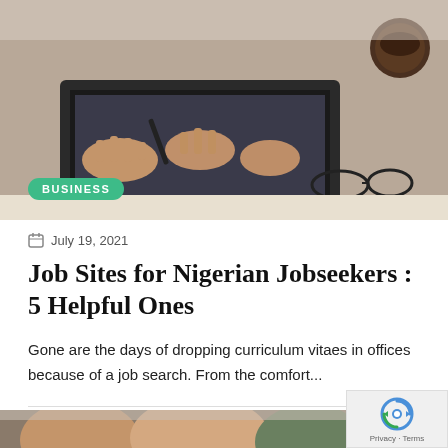[Figure (photo): Person typing on a laptop with glasses and a coffee cup on the desk]
BUSINESS
July 19, 2021
Job Sites for Nigerian Jobseekers : 5 Helpful Ones
Gone are the days of dropping curriculum vitaes in offices because of a job search. From the comfort...
1  553  4  Share
[Figure (photo): People sitting together, bottom of page, partially visible]
[Figure (logo): reCAPTCHA badge with Privacy - Terms text]